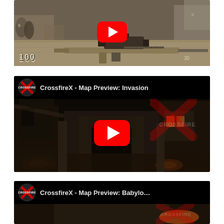[Figure (screenshot): YouTube video thumbnail showing a first-person shooter game (CrossfireX) with a sniper rifle view, desert environment, HUD showing 100 health and 30 ammo, with red YouTube play button overlay]
[Figure (screenshot): YouTube video thumbnail for 'CrossfireX - Map Preview: Invasion' showing a dark nighttime map with burning fires, Middle-Eastern architecture, CrossfireX logo in top-left, large red YouTube play button, CrossfireX watermark on right]
[Figure (screenshot): YouTube video thumbnail for 'CrossfireX - Map Preview: Babylon' (partially cropped), CrossfireX logo in top-left, CrossfireX watermark on right]